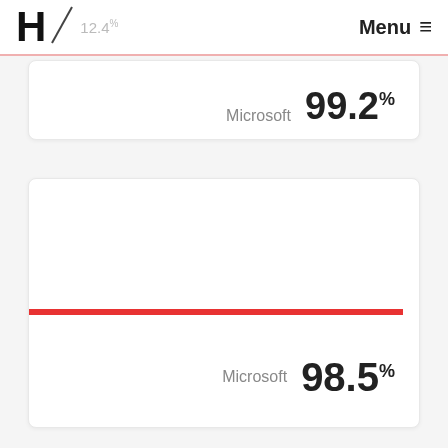H / 12.4%  Menu ≡
Microsoft  99.2%
[Figure (other): Empty white card area with a red horizontal progress/score bar near the bottom]
Microsoft  98.5%